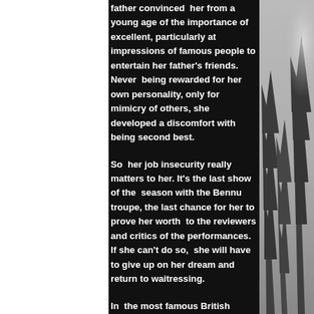father convinced her from a young age of the importance of excellent, particularly at impressions of famous people to entertain her father's friends. Never being rewarded for her own personality, only for mimicry of others, she developed a discomfort with being second best.
So her job insecurity really matters to her. It's the last show of the season with the Bennu troupe, the last chance for her to prove her worth to the reviewers and critics of the performances. If she can't do so, she will have to give up on her dream and return to waitressing.
In the most famous British performance art troupe, Miriam is a standby, which is
[Figure (photo): Misty forest scene with conifer trees silhouetted against a grey foggy sky, occupying the right portion of the page]